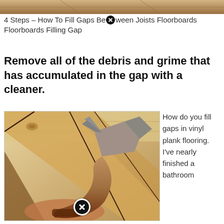[Figure (photo): Cropped top portion of a photo showing wood flooring/joists]
4 Steps – How To Fill Gaps Between Joists Floorboards Floorboards Filling Gap
Remove all of the debris and grime that has accumulated in the gap with a cleaner.
[Figure (photo): Photo of a hammer being used on wood floorboard joists, viewed from below, with a close button overlay]
How do you fill gaps in vinyl plank flooring. I've nearly finished a bathroom